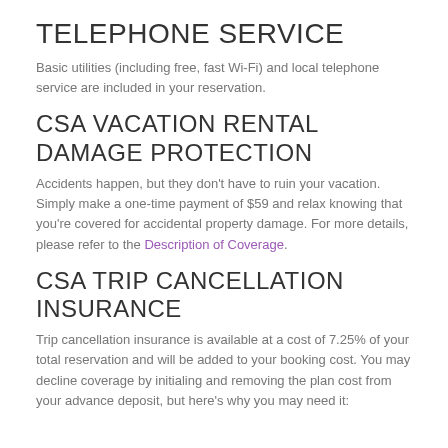TELEPHONE SERVICE
Basic utilities (including free, fast Wi-Fi) and local telephone service are included in your reservation.
CSA VACATION RENTAL DAMAGE PROTECTION
Accidents happen, but they don't have to ruin your vacation. Simply make a one-time payment of $59 and relax knowing that you're covered for accidental property damage. For more details, please refer to the Description of Coverage.
CSA TRIP CANCELLATION INSURANCE
Trip cancellation insurance is available at a cost of 7.25% of your total reservation and will be added to your booking cost. You may decline coverage by initialing and removing the plan cost from your advance deposit, but here's why you may need it: